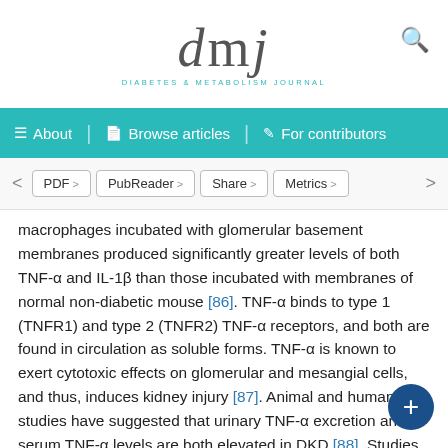dmj — Diabetes & Metabolism Journal
About | Browse articles | For contributors
PDF > PubReader > Share > Metrics >
macrophages incubated with glomerular basement membranes produced significantly greater levels of both TNF-α and IL-1β than those incubated with membranes of normal non-diabetic mouse [86]. TNF-α binds to type 1 (TNFR1) and type 2 (TNFR2) TNF-α receptors, and both are found in circulation as soluble forms. TNF-α is known to exert cytotoxic effects on glomerular and mesangial cells, and thus, induces kidney injury [87]. Animal and human studies have suggested that urinary TNF-α excretion and serum TNF-α levels are both elevated in DKD [88]. Studies of TNFR levels have also suggested that circulating TNFR levels may be good predictors of ESKD in patients with DKD [89]. More recently, in the Joslin cohort, TNFR2 levels were the strongest determinant of eGFR decline in patients with T1DM and albuminuria [90].